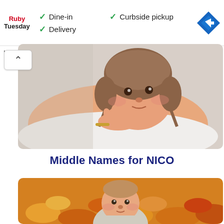[Figure (screenshot): Ruby Tuesday restaurant ad banner showing logo, dine-in checkmark, curbside pickup checkmark, delivery checkmark, and navigation arrow icon]
[Figure (photo): Baby wearing a brown knit hat, lying on a white blanket, resting chin on hand with gold bracelet]
Middle Names for NICO
[Figure (photo): Baby with light hair sitting outdoors surrounded by autumn leaves with orange and yellow background]